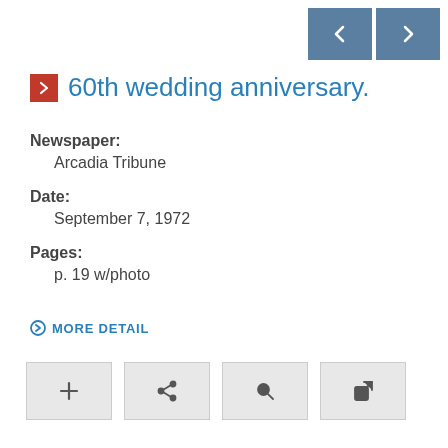[Figure (screenshot): Navigation buttons: left arrow and right arrow on blue background]
60th wedding anniversary.
Newspaper:
  Arcadia Tribune
Date:
  September 7, 1972
Pages:
  p. 19 w/photo
MORE DETAIL
[Figure (screenshot): Action buttons row: plus, share, zoom/search, external link]